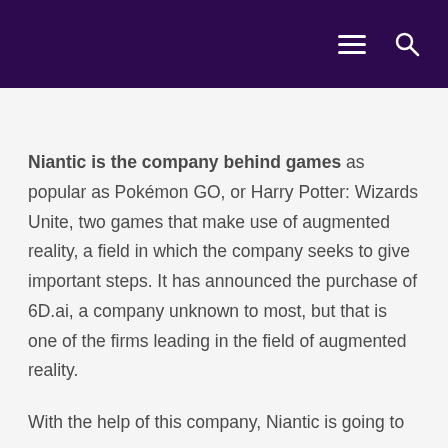Navigation menu and search icons
Niantic is the company behind games as popular as Pokémon GO, or Harry Potter: Wizards Unite, two games that make use of augmented reality, a field in which the company seeks to give important steps. It has announced the purchase of 6D.ai, a company unknown to most, but that is one of the firms leading in the field of augmented reality.
With the help of this company, Niantic is going to